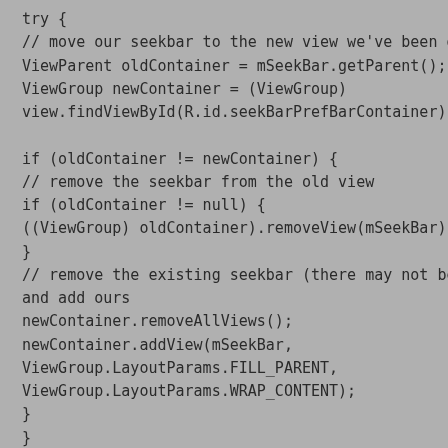try {
// move our seekbar to the new view we've been given
ViewParent oldContainer = mSeekBar.getParent();
ViewGroup newContainer = (ViewGroup)
view.findViewById(R.id.seekBarPrefBarContainer);

if (oldContainer != newContainer) {
// remove the seekbar from the old view
if (oldContainer != null) {
((ViewGroup) oldContainer).removeView(mSeekBar);
}
// remove the existing seekbar (there may not be one)
and add ours
newContainer.removeAllViews();
newContainer.addView(mSeekBar,
ViewGroup.LayoutParams.FILL_PARENT,
ViewGroup.LayoutParams.WRAP_CONTENT);
}
}
...